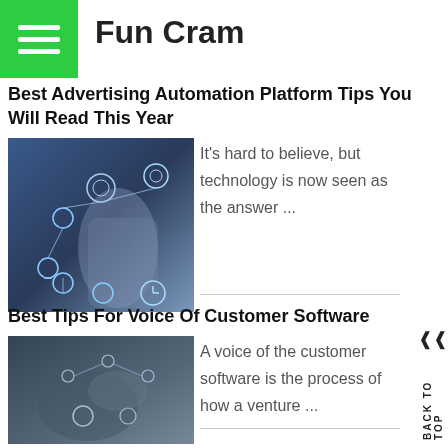Fun Cram
Best Advertising Automation Platform Tips You Will Read This Year
[Figure (photo): Technology network diagram with hands touching digital icons connected by lines on a dark background]
It's hard to believe, but technology is now seen as the answer ...
Best Tips For Voice Of Customer Software
[Figure (photo): Person using digital interface with network connections, dark background]
A voice of the customer software is the process of how a venture ...